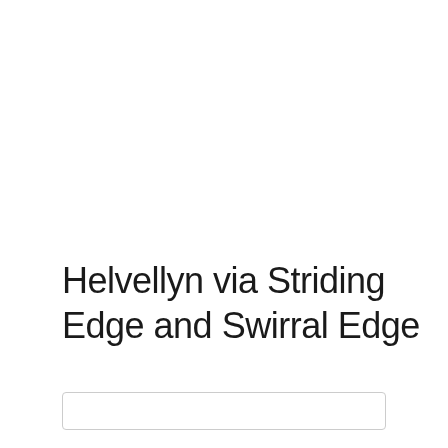Helvellyn via Striding Edge and Swirral Edge